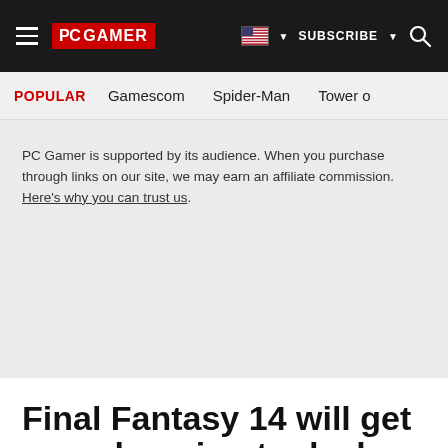PC GAMER | SUBSCRIBE | Search
POPULAR   Gamescom   Spider-Man   Tower o
PC Gamer is supported by its audience. When you purchase through links on our site, we may earn an affiliate commission. Here's why you can trust us.
Final Fantasy 14 will get more housing to deal with its rising player